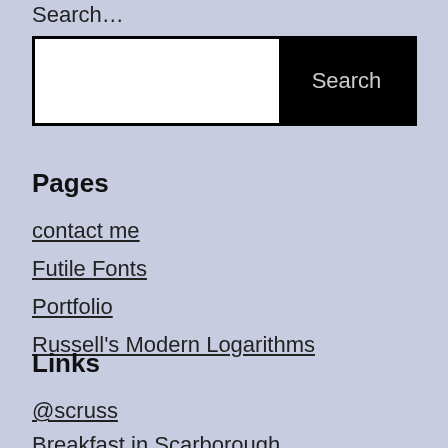Search…
Search
Pages
contact me
Futile Fonts
Portfolio
Russell's Modern Logarithms
Links
@scruss
Breakfast in Scarborough